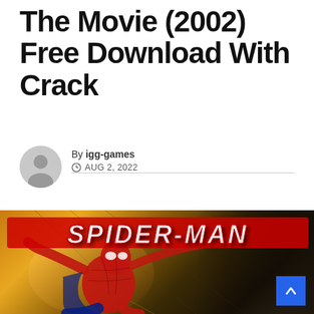The Movie (2002) Free Download With Crack
By igg-games
AUG 2, 2022
[Figure (photo): Spider-Man The Movie promotional image with the SPIDER-MAN title logo in red italic letters at the top, and Spider-Man in his red and blue suit posed in a crouching/crawling position against a golden/orange urban background.]